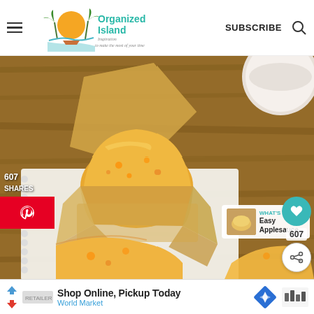Organized Island — Inspiration to make the most of your time | SUBSCRIBE
[Figure (photo): Close-up photo of a golden cornbread or cheese muffin in a parchment paper wrapper, with more muffins partially visible in the foreground, placed on a white cloth surface with a wooden background]
607
SHARES
WHAT'S NEXT → Easy Applesauce...
Shop Online, Pickup Today
World Market